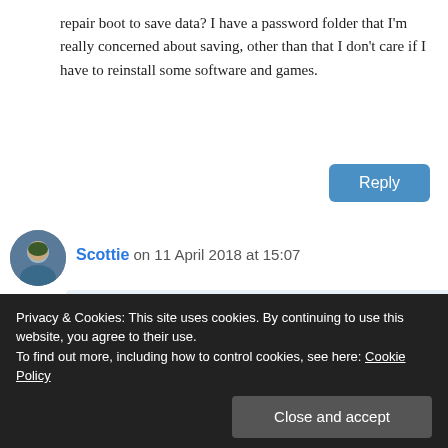repair boot to save data? I have a password folder that I'm really concerned about saving, other than that I don't care if I have to reinstall some software and games.
Reply
Scottie on 11 April 2018 at 15:07
Yeah, that should be okay. Worst case, you can fire up the Win 10 recovery tools and access the password folder to back it
Privacy & Cookies: This site uses cookies. By continuing to use this website, you agree to their use.
To find out more, including how to control cookies, see here: Cookie Policy
Close and accept